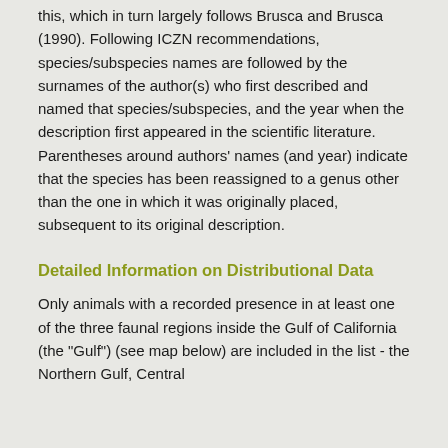this, which in turn largely follows Brusca and Brusca (1990). Following ICZN recommendations, species/subspecies names are followed by the surnames of the author(s) who first described and named that species/subspecies, and the year when the description first appeared in the scientific literature. Parentheses around authors' names (and year) indicate that the species has been reassigned to a genus other than the one in which it was originally placed, subsequent to its original description.
Detailed Information on Distributional Data
Only animals with a recorded presence in at least one of the three faunal regions inside the Gulf of California (the "Gulf") (see map below) are included in the list - the Northern Gulf, Central